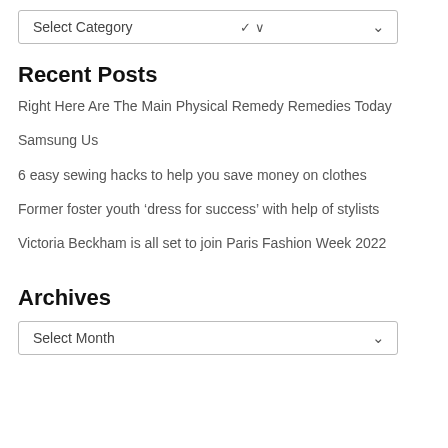Select Category
Recent Posts
Right Here Are The Main Physical Remedy Remedies Today
Samsung Us
6 easy sewing hacks to help you save money on clothes
Former foster youth ‘dress for success’ with help of stylists
Victoria Beckham is all set to join Paris Fashion Week 2022
Archives
Select Month